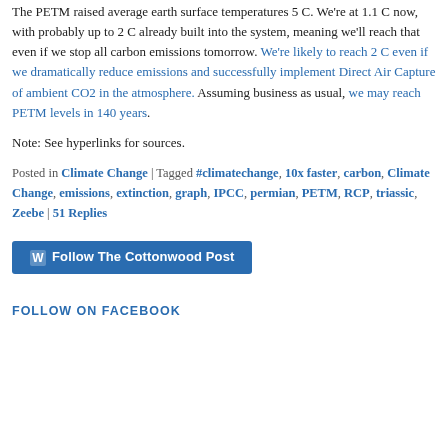The PETM raised average earth surface temperatures 5 C. We're at 1.1 C now, with probably up to 2 C already built into the system, meaning we'll reach that even if we stop all carbon emissions tomorrow. We're likely to reach 2 C even if we dramatically reduce emissions and successfully implement Direct Air Capture of ambient CO2 in the atmosphere. Assuming business as usual, we may reach PETM levels in 140 years.
Note: See hyperlinks for sources.
Posted in Climate Change | Tagged #climatechange, 10x faster, carbon, Climate Change, emissions, extinction, graph, IPCC, permian, PETM, RCP, triassic, Zeebe | 51 Replies
[Figure (other): Follow The Cottonwood Post button — blue rounded rectangle with WordPress logo icon and white bold text]
FOLLOW ON FACEBOOK